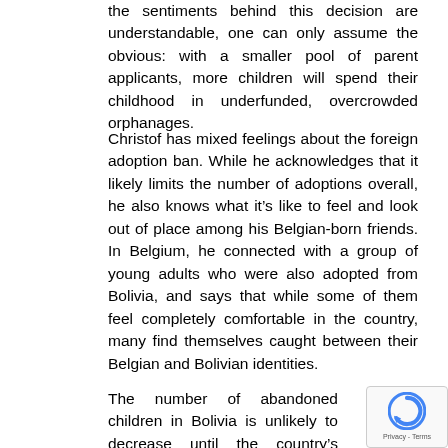the sentiments behind this decision are understandable, one can only assume the obvious: with a smaller pool of parent applicants, more children will spend their childhood in underfunded, overcrowded orphanages.
Christof has mixed feelings about the foreign adoption ban. While he acknowledges that it likely limits the number of adoptions overall, he also knows what it's like to feel and look out of place among his Belgian-born friends. In Belgium, he connected with a group of young adults who were also adopted from Bolivia, and says that while some of them feel completely comfortable in the country, many find themselves caught between their Belgian and Bolivian identities.
The number of abandoned children in Bolivi… unlikely to decrease until the country's pove… rates decrease and methods of contraception